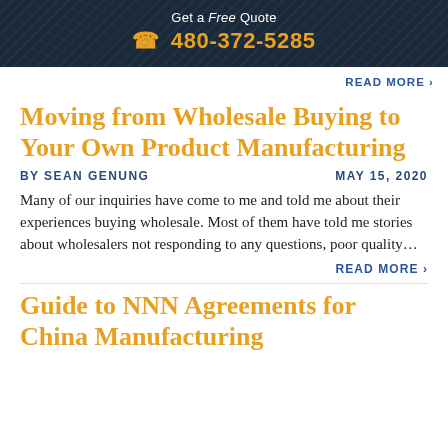Get a Free Quote
☎ 480-372-5285
READ MORE ›
Moving from Wholesale Buying to Your Own Product Manufacturing
BY SEAN GENUNG    MAY 15, 2020
Many of our inquiries have come to me and told me about their experiences buying wholesale. Most of them have told me stories about wholesalers not responding to any questions, poor quality…
READ MORE ›
Guide to NNN Agreements for China Manufacturing